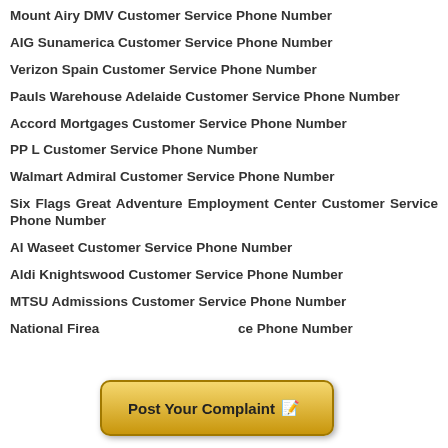Mount Airy DMV Customer Service Phone Number
AIG Sunamerica Customer Service Phone Number
Verizon Spain Customer Service Phone Number
Pauls Warehouse Adelaide Customer Service Phone Number
Accord Mortgages Customer Service Phone Number
PP L Customer Service Phone Number
Walmart Admiral Customer Service Phone Number
Six Flags Great Adventure Employment Center Customer Service Phone Number
Al Waseet Customer Service Phone Number
Aldi Knightswood Customer Service Phone Number
MTSU Admissions Customer Service Phone Number
National Firearms Customer Service Phone Number
[Figure (other): Post Your Complaint button overlay with pencil/notepad emoji]